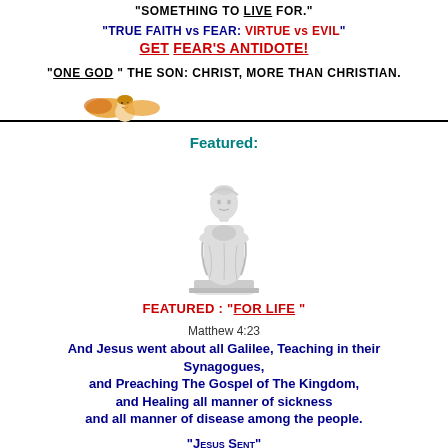"SOMETHING TO LIVE FOR."
"TRUE FAITH vs FEAR: VIRTUE vs EVIL"
GET FEAR'S ANTIDOTE!
"ONE GOD" THE SON: CHRIST, MORE THAN CHRISTIAN.
[Figure (illustration): Cherub angel illustration with horizontal dividing line]
Featured:
[Figure (illustration): White marble statue of a robed figure holding a child]
FEATURED: "FOR LIFE"
Matthew 4:23
And Jesus went about all Galilee, Teaching in their Synagogues, and Preaching The Gospel of The Kingdom, and Healing all manner of sickness and all manner of disease among the people.
"JESUS SENT"